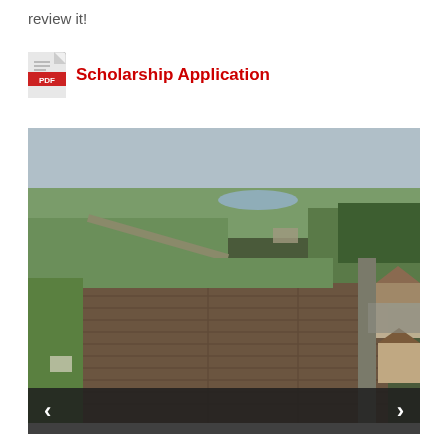review it!
Scholarship Application
[Figure (photo): Aerial drone photograph of agricultural fields and rural landscape with residential buildings visible on the right side and open farmland in the center and left. A road runs vertically on the right portion of the image.]
[Figure (other): Image carousel navigation bar with left and right arrow buttons on dark background.]